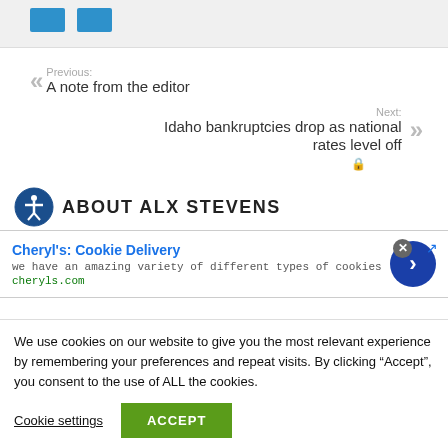[Figure (screenshot): Gray bar at top of page, partial website header]
Previous:
A note from the editor
Next:
Idaho bankruptcies drop as national rates level off
ABOUT ALX STEVENS
[Figure (screenshot): Advertisement overlay: Cheryl's Cookie Delivery - we have an amazing variety of different types of cookies - cheryls.com]
We use cookies on our website to give you the most relevant experience by remembering your preferences and repeat visits. By clicking “Accept”, you consent to the use of ALL the cookies.
Cookie settings
ACCEPT